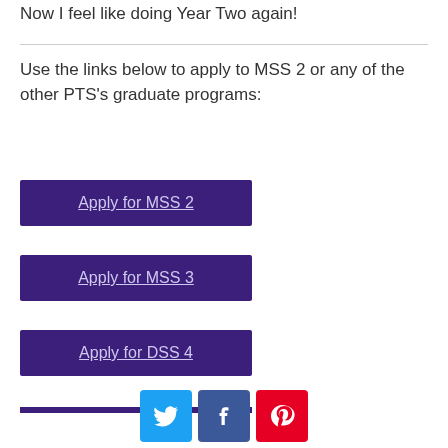Now I feel like doing Year Two again!
Use the links below to apply to MSS 2 or any of the other PTS's graduate programs:
Apply for MSS 2
Apply for MSS 3
Apply for DSS 4
[Figure (other): Social share icons: Twitter (blue), Facebook (dark blue), Pinterest (red)]